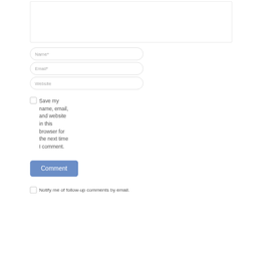[Figure (screenshot): A web comment form showing a textarea, Name/Email/Website input fields, a checkbox with 'Save my name, email, and website in this browser for the next time I comment.' label, a Comment submit button, and a 'Notify me of follow-up comments by email.' checkbox.]
Name*
Email*
Website
Save my name, email, and website in this browser for the next time I comment.
Comment
Notify me of follow-up comments by email.